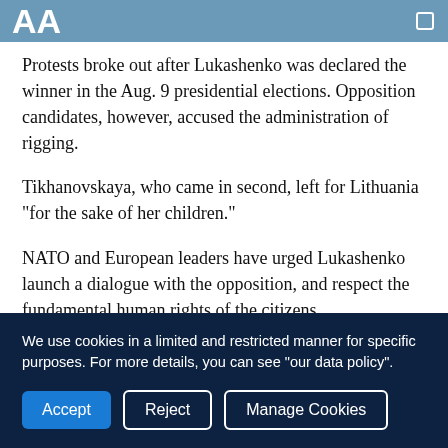AA (logo)
Protests broke out after Lukashenko was declared the winner in the Aug. 9 presidential elections. Opposition candidates, however, accused the administration of rigging.
Tikhanovskaya, who came in second, left for Lithuania "for the sake of her children."
NATO and European leaders have urged Lukashenko launch a dialogue with the opposition, and respect the fundamental human rights of the citizens.
Iran sanctions
We use cookies in a limited and restricted manner for specific purposes. For more details, you can see "our data policy".